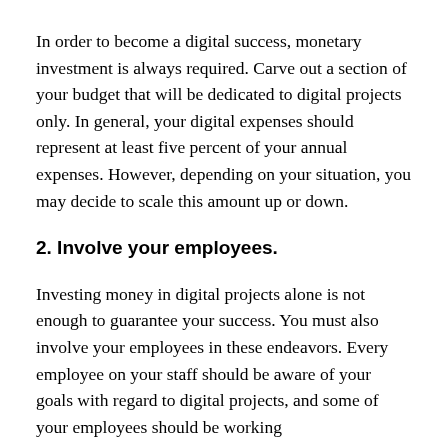In order to become a digital success, monetary investment is always required. Carve out a section of your budget that will be dedicated to digital projects only. In general, your digital expenses should represent at least five percent of your annual expenses. However, depending on your situation, you may decide to scale this amount up or down.
2. Involve your employees.
Investing money in digital projects alone is not enough to guarantee your success. You must also involve your employees in these endeavors. Every employee on your staff should be aware of your goals with regard to digital projects, and some of your employees should be working